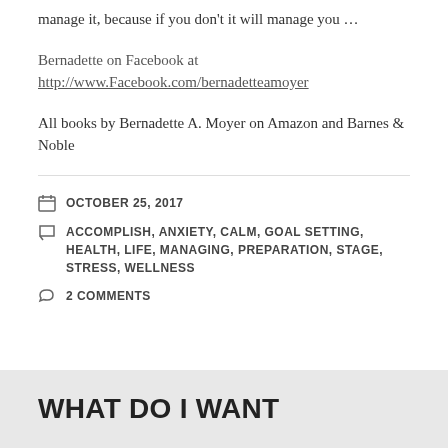manage it, because if you don't it will manage you …
Bernadette on Facebook at http://www.Facebook.com/bernadetteamoyer
All books by Bernadette A. Moyer on Amazon and Barnes & Noble
OCTOBER 25, 2017
ACCOMPLISH, ANXIETY, CALM, GOAL SETTING, HEALTH, LIFE, MANAGING, PREPARATION, STAGE, STRESS, WELLNESS
2 COMMENTS
WHAT DO I WANT